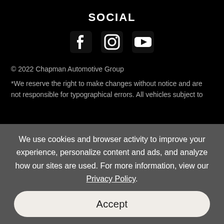SOCIAL
[Figure (illustration): Three social media icons: Facebook (f), Instagram (circle with inner circle and corner dot), YouTube (play button triangle in rectangle)]
© 2022 Chapman Automotive Group
*We reserve the right to make changes without notice and are not responsible for typographical errors. All vehicles subject to
We use cookies and browser activity to improve your experience, personalize content and ads, and analyze how our sites are used. For more information, view our Privacy Policy.
Accept